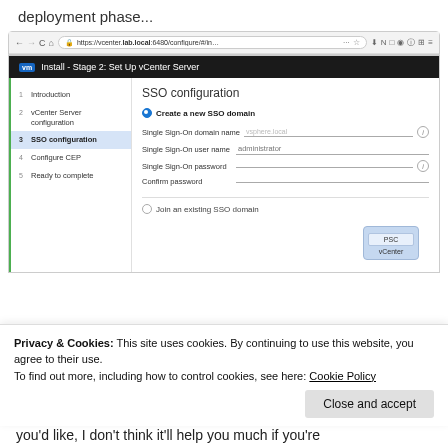deployment phase...
[Figure (screenshot): Browser screenshot showing vCenter Server Stage 2 installer - SSO configuration page with sidebar navigation (Introduction, vCenter Server configuration, SSO configuration active, Configure CEP, Ready to complete), main SSO config form with Create a new SSO domain radio selected, fields for Single Sign-On domain name, user name (administrator), password, confirm password, and Join an existing SSO domain radio option, plus a PSC/vCenter diagram box visible at bottom.]
Privacy & Cookies: This site uses cookies. By continuing to use this website, you agree to their use.
To find out more, including how to control cookies, see here: Cookie Policy
you'd like, I don't think it'll help you much if you're